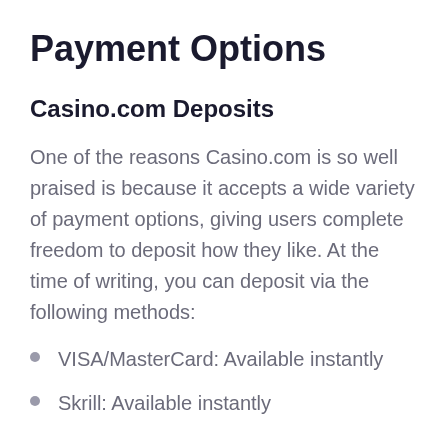Payment Options
Casino.com Deposits
One of the reasons Casino.com is so well praised is because it accepts a wide variety of payment options, giving users complete freedom to deposit how they like. At the time of writing, you can deposit via the following methods:
VISA/MasterCard: Available instantly
Skrill: Available instantly